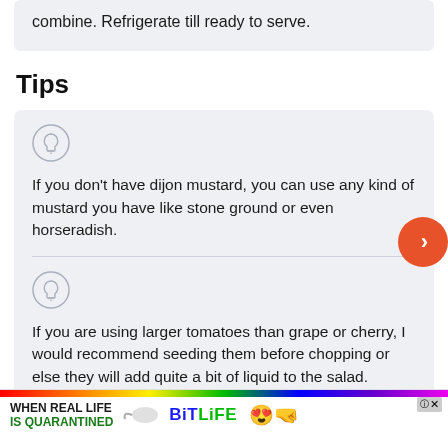combine. Refrigerate till ready to serve.
Tips
If you don't have dijon mustard, you can use any kind of mustard you have like stone ground or even horseradish.
If you are using larger tomatoes than grape or cherry, I would recommend seeding them before chopping or else they will add quite a bit of liquid to the salad.
[Figure (screenshot): Advertisement banner for BitLife game with rainbow bar, text 'WHEN REAL LIFE IS QUARANTINED' and BitLife logo with emoji characters]